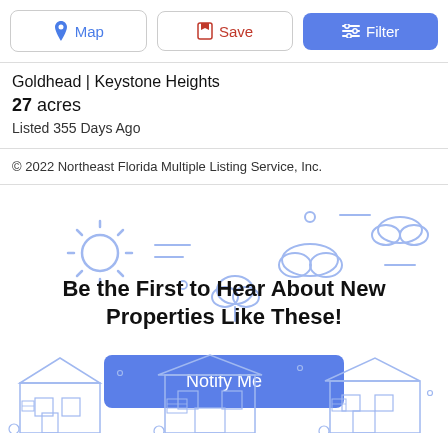[Figure (screenshot): Toolbar with Map, Save, and Filter buttons]
Goldhead | Keystone Heights
27 acres
Listed 355 Days Ago
© 2022 Northeast Florida Multiple Listing Service, Inc.
[Figure (illustration): Weather and nature icons illustration (sun, clouds, trees)]
Be the First to Hear About New Properties Like These!
[Figure (illustration): Blue outline illustration of houses at the bottom of the page]